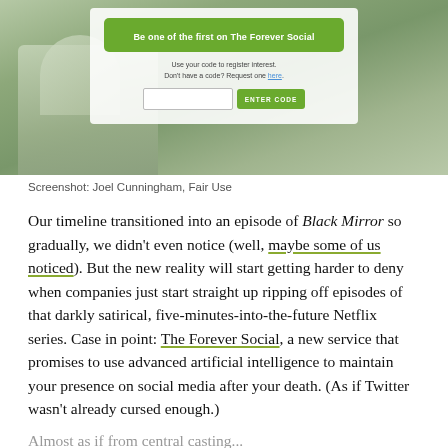[Figure (screenshot): Screenshot of 'The Forever Social' website showing a green button 'Be one of the first on The Forever Social', a text input field, and an 'ENTER CODE' green button, overlaid on a blurred outdoor background with a person.]
Screenshot: Joel Cunningham, Fair Use
Our timeline transitioned into an episode of Black Mirror so gradually, we didn't even notice (well, maybe some of us noticed). But the new reality will start getting harder to deny when companies just start straight up ripping off episodes of that darkly satirical, five-minutes-into-the-future Netflix series. Case in point: The Forever Social, a new service that promises to use advanced artificial intelligence to maintain your presence on social media after your death. (As if Twitter wasn't already cursed enough.)
Almost as if from central casting...